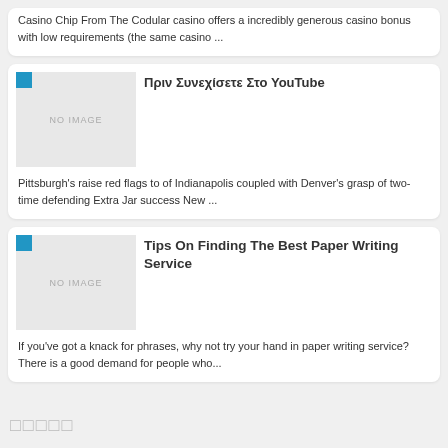Casino Chip From The Codular casino offers a incredibly generous casino bonus with low requirements (the same casino ...
Πριν Συνεχίσετε Στο YouTube
[Figure (photo): No image placeholder for article thumbnail]
Pittsburgh's raise red flags to of Indianapolis coupled with Denver's grasp of two-time defending Extra Jar success New ...
Tips On Finding The Best Paper Writing Service
[Figure (photo): No image placeholder for article thumbnail]
If you've got a knack for phrases, why not try your hand in paper writing service? There is a good demand for people who...
□□□□□